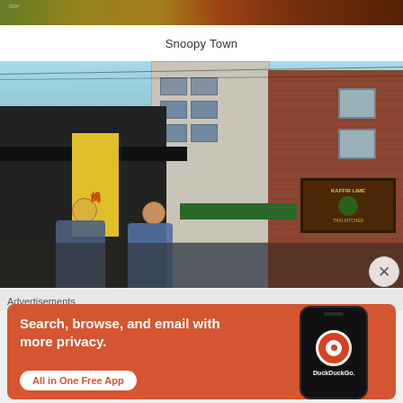[Figure (photo): Partial top view of what appears to be a colorful indoor scene, cropped at top of page]
Snoopy Town
[Figure (photo): Street scene in what appears to be an Asian city (possibly Tokyo/Korea), showing buildings, people walking, yellow kanji signs, green awning, and a Kaffir Lime restaurant sign]
Advertisements
[Figure (screenshot): DuckDuckGo advertisement banner on orange/red background. Text reads: Search, browse, and email with more privacy. All in One Free App. Shows phone mockup with DuckDuckGo logo and branding.]